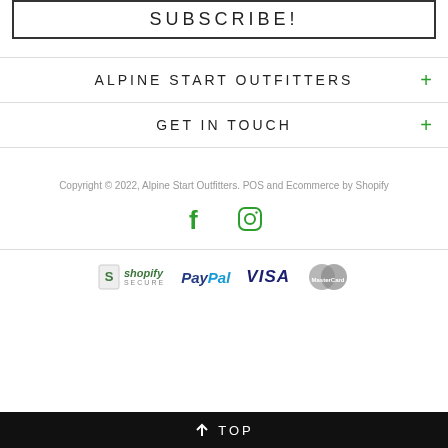SUBSCRIBE!
ALPINE START OUTFITTERS
GET IN TOUCH
Copyright © 2022, Alpine Start Outfitters. POS and Ecommerce by Shopify
[Figure (logo): Facebook and Instagram social media icons in green]
[Figure (logo): Payment logos: Shopify Secure, PayPal, Visa, MasterCard]
↑ TOP